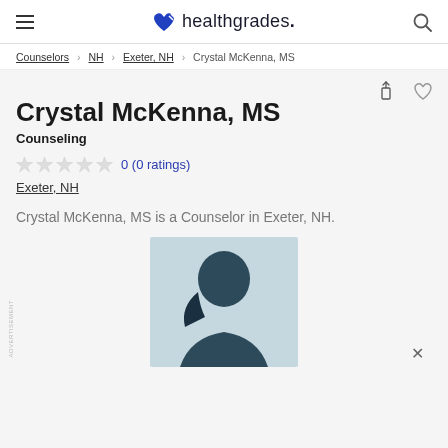healthgrades.
Counselors > NH > Exeter, NH > Crystal McKenna, MS
Crystal McKenna, MS
Counseling
0 (0 ratings)
Exeter, NH
Crystal McKenna, MS is a Counselor in Exeter, NH.
[Figure (photo): Silhouette profile photo placeholder of Crystal McKenna, MS — generic female silhouette on light blue background]